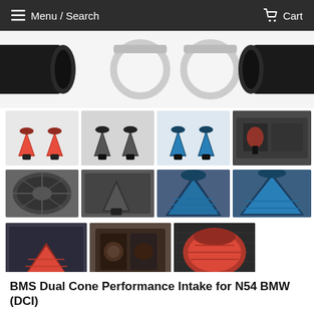Menu / Search   Cart
[Figure (photo): Main product image showing black intake pipes and hose clamps on white background]
[Figure (photo): Thumbnail: Red dual cone air filters with black pipes]
[Figure (photo): Thumbnail: Dark/carbon dual cone air filters with black pipes]
[Figure (photo): Thumbnail: Blue dual cone air filters with black pipes]
[Figure (photo): Thumbnail: Engine bay installed photo]
[Figure (photo): Thumbnail: Close-up of carbon cone filter top]
[Figure (photo): Thumbnail: Engine bay with carbon intake installed]
[Figure (photo): Thumbnail: Blue cone filter close-up]
[Figure (photo): Thumbnail: Blue cone filter side view]
[Figure (photo): Thumbnail: Pink/red cone filter installed in engine bay]
[Figure (photo): Thumbnail: Engine bay top-down view with intake]
[Figure (photo): Thumbnail: Pink cone filter close-up on carbon fiber]
BMS Dual Cone Performance Intake for N54 BMW (DCI)